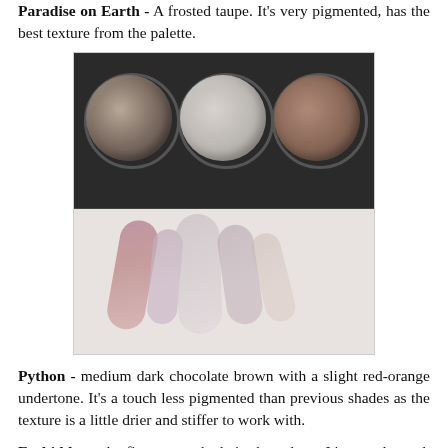Paradise on Earth - A frosted taupe. It's very pigmented, has the best texture from the palette.
[Figure (photo): Photo showing a makeup palette with three eyeshadow pans (a warm shimmery taupe, a light silvery taupe, and a medium brown), and below it skin swatches of those shades applied to an arm.]
Python - medium dark chocolate brown with a slight red-orange undertone. It's a touch less pigmented than previous shades as the texture is a little drier and stiffer to work with.
Forbidden - the first matte shade in the palette. It's a cool toned, grey purple shade which contains little gold glitter in